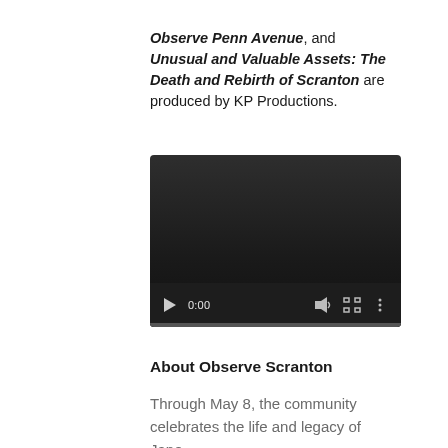Observe Penn Avenue, and Unusual and Valuable Assets: The Death and Rebirth of Scranton are produced by KP Productions.
[Figure (screenshot): Embedded video player with dark background, playback controls showing 0:00 timestamp, volume icon, fullscreen icon, and options menu icon with a progress bar at the bottom.]
About Observe Scranton
Through May 8, the community celebrates the life and legacy of Jane